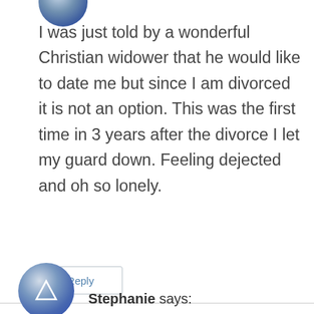[Figure (photo): Partial view of a circular avatar with blue/gray tones at the top of the page]
I was just told by a wonderful Christian widower that he would like to date me but since I am divorced it is not an option. This was the first time in 3 years after the divorce I let my guard down. Feeling dejected and oh so lonely.
Reply
[Figure (photo): Circular avatar with blue/gray tones, partially visible at the bottom]
Stephanie says: